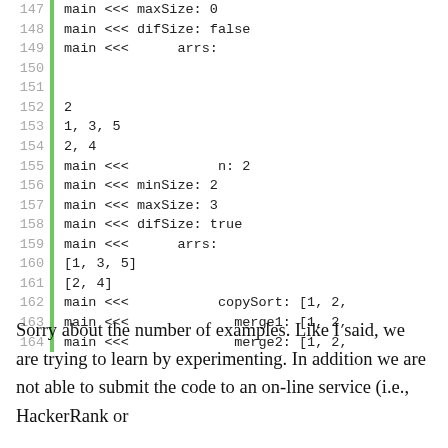[Figure (screenshot): Code output block showing line numbers 147-164 with a green vertical bar separator, displaying debug output from a program including difSize, arrs, n, minSize, maxSize values and array contents, copySort, merge1, merge2 lines]
Sorry about the number of examples. Like I said, we are trying to learn by experimenting. In addition we are not able to submit the code to an on-line service (i.e., HackerRank or